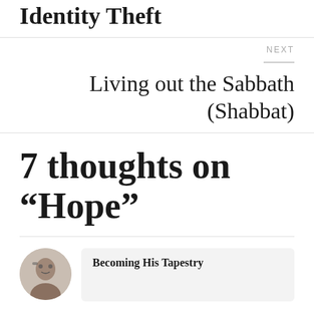Identity Theft
NEXT
Living out the Sabbath (Shabbat)
7 thoughts on “Hope”
Becoming His Tapestry